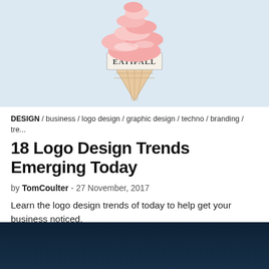[Figure (photo): Photo of an ice cream cone or similar layered dessert/object with pink/white layers and a sign reading 'EATIFALL', on a light blue background]
DESIGN / business / logo design / graphic design / techno / branding / tre...
18 Logo Design Trends Emerging Today
by TomCoulter - 27 November, 2017
Learn the logo design trends of today to help get your business noticed.
♡ 9   ○ 10
[Figure (photo): Dark navy/teal background image at the bottom of the page]